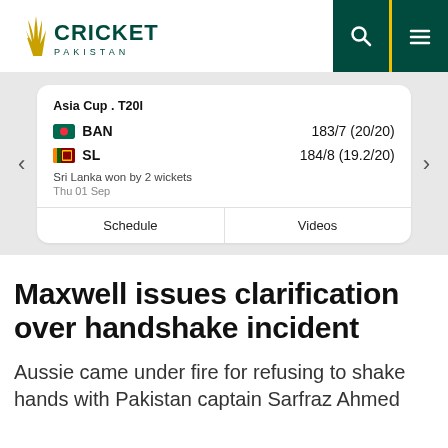Cricket Pakistan
Asia Cup . T20I
BAN 183/7 (20/20)
SL 184/8 (19.2/20)
Sri Lanka won by 2 wickets
Thu 01 Sep
Schedule | Videos
Maxwell issues clarification over handshake incident
Aussie came under fire for refusing to shake hands with Pakistan captain Sarfraz Ahmed